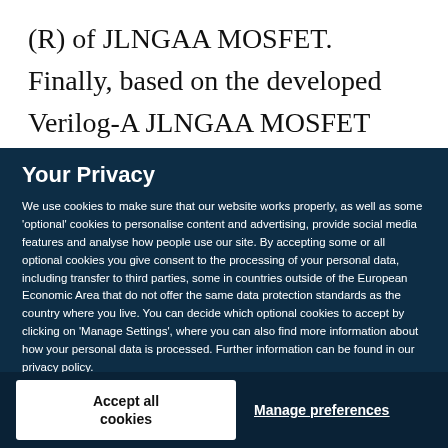(R) of JLNGAA MOSFET. Finally, based on the developed Verilog-A JLNGAA MOSFET model, we have tested it in four types of low voltage circuits. CMOS
Your Privacy
We use cookies to make sure that our website works properly, as well as some 'optional' cookies to personalise content and advertising, provide social media features and analyse how people use our site. By accepting some or all optional cookies you give consent to the processing of your personal data, including transfer to third parties, some in countries outside of the European Economic Area that do not offer the same data protection standards as the country where you live. You can decide which optional cookies to accept by clicking on 'Manage Settings', where you can also find more information about how your personal data is processed. Further information can be found in our privacy policy.
Accept all cookies
Manage preferences